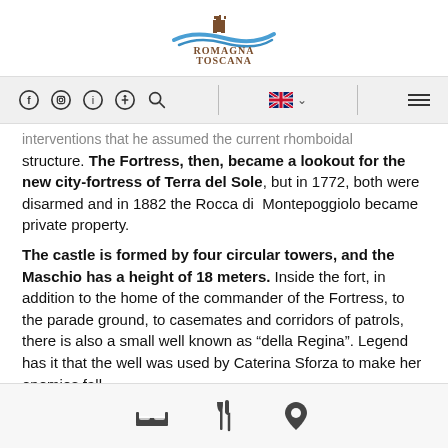Romagna Toscana
[Figure (infographic): Navigation bar with social/info icons, language selector (UK flag), and hamburger menu]
interventions that he assumed the current rhomboidal structure. The Fortress, then, became a lookout for the new city-fortress of Terra del Sole, but in 1772, both were disarmed and in 1882 the Rocca di Montepoggiolo became private property.
The castle is formed by four circular towers, and the Maschio has a height of 18 meters. Inside the fort, in addition to the home of the commander of the Fortress, to the parade ground, to casemates and corridors of patrols, there is also a small well known as “della Regina”. Legend has it that the well was used by Caterina Sforza to make her enemies fall.
[Figure (infographic): Footer icon bar with bed/accommodation icon, restaurant/dining icon, and location pin icon]